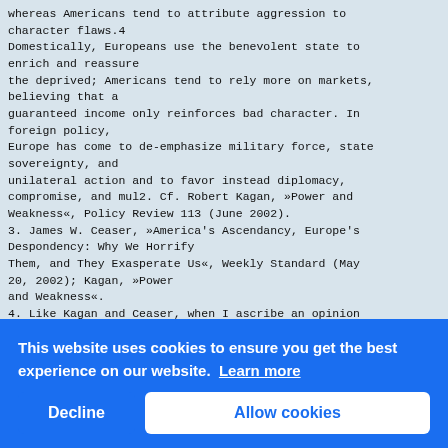whereas Americans tend to attribute aggression to character flaws.4
Domestically, Europeans use the benevolent state to enrich and reassure the deprived; Americans tend to rely more on markets, believing that a guaranteed income only reinforces bad character. In foreign policy, Europe has come to de-emphasize military force, state sovereignty, and unilateral action and to favor instead diplomacy, compromise, and mul2. Cf. Robert Kagan, »Power and Weakness«, Policy Review 113 (June 2002).
3. James W. Ceaser, »America's Ascendancy, Europe's Despondency: Why We Horrify Them, and They Exasperate Us«, Weekly Standard (May 20, 2002); Kagan, »Power and Weakness«.
4. Like Kagan and Ceaser, when I ascribe an opinion to »Europe« or »America«, I have in mind societal elites therein. Actually, the libe... thos... Demo... as t... pres... Unit... »con... libe...
72
Owen
ipg 1/2003
[Figure (other): Cookie consent banner overlay with blue background. Text reads: 'This website uses cookies to ensure you get the best experience on our website. Learn more'. Two buttons: 'Decline' (left, blue) and 'Allow cookies' (right, white with blue text).]